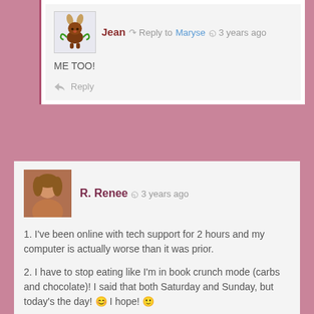Jean · Reply to Maryse · 3 years ago
ME TOO!
Reply
R. Renee · 3 years ago
1. I've been online with tech support for 2 hours and my computer is actually worse than it was prior.
2. I have to stop eating like I'm in book crunch mode (carbs and chocolate)! I said that both Saturday and Sunday, but today's the day! 😊 I hope! 🙂
3. I LOVE the new A Five-Minute Life cover!!! Can't wait to